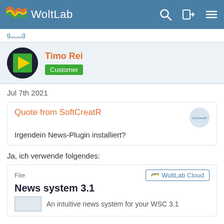WoltLab
Jul 7th 2021
Timo Rei
Customer
Quote from SoftCreatR
Irgendein News-Plugin installiert?
Ja, ich verwende folgendes:
File
News system 3.1
An intuitive news system for your WSC 3.1